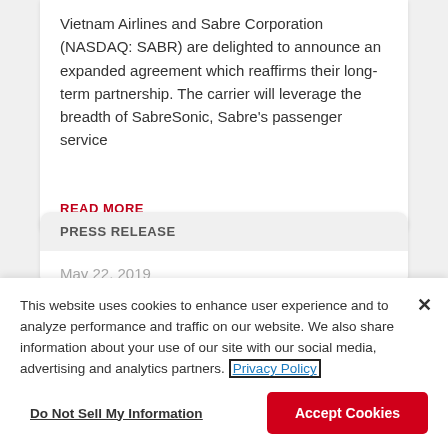Vietnam Airlines and Sabre Corporation (NASDAQ: SABR) are delighted to announce an expanded agreement which reaffirms their long-term partnership. The carrier will leverage the breadth of SabreSonic, Sabre's passenger service
READ MORE
PRESS RELEASE
May 22, 2019
This website uses cookies to enhance user experience and to analyze performance and traffic on our website. We also share information about your use of our site with our social media, advertising and analytics partners. Privacy Policy
Do Not Sell My Information
Accept Cookies